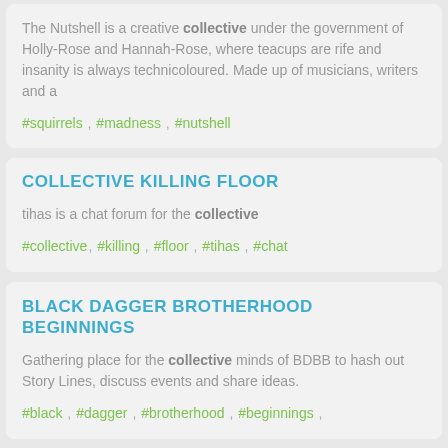The Nutshell is a creative collective under the government of Holly-Rose and Hannah-Rose, where teacups are rife and insanity is always technicoloured. Made up of musicians, writers and a
#squirrels , #madness , #nutshell
COLLECTIVE KILLING FLOOR
tihas is a chat forum for the collective
#collective, #killing , #floor , #tihas , #chat
BLACK DAGGER BROTHERHOOD BEGINNINGS
Gathering place for the collective minds of BDBB to hash out Story Lines, discuss events and share ideas.
#black , #dagger , #brotherhood , #beginnings ,